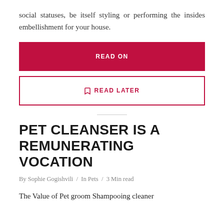social statuses, be itself styling or performing the insides embellishment for your house.
READ ON
READ LATER
PET CLEANSER IS A REMUNERATING VOCATION
By Sophie Gogishvili / In Pets / 3 Min read
The Value of Pet groom Shampooing cleaner